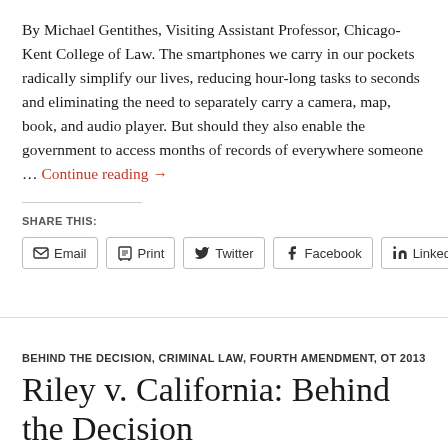By Michael Gentithes, Visiting Assistant Professor, Chicago-Kent College of Law. The smartphones we carry in our pockets radically simplify our lives, reducing hour-long tasks to seconds and eliminating the need to separately carry a camera, map, book, and audio player. But should they also enable the government to access months of records of everywhere someone … Continue reading →
SHARE THIS:
Email | Print | Twitter | Facebook | LinkedIn
BEHIND THE DECISION, CRIMINAL LAW, FOURTH AMENDMENT, OT 2013
Riley v. California: Behind the Decision